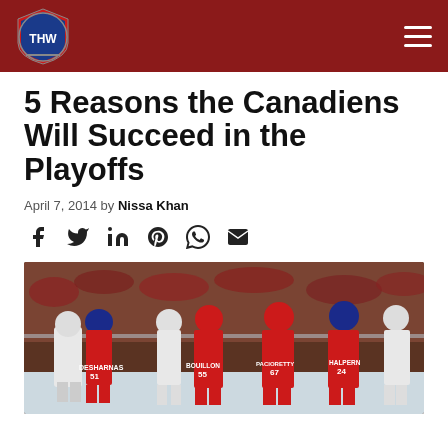THW - The Hockey Writers
5 Reasons the Canadiens Will Succeed in the Playoffs
April 7, 2014 by Nissa Khan
[Figure (other): Social sharing icons: Facebook, Twitter, LinkedIn, Pinterest, WhatsApp, Email]
[Figure (photo): Montreal Canadiens hockey players on ice including players with jerseys: DESHARNAS (51), BOUILLON (55), PACIORETTY (67), HALPERN (24) shaking hands with opposing team players after a game]